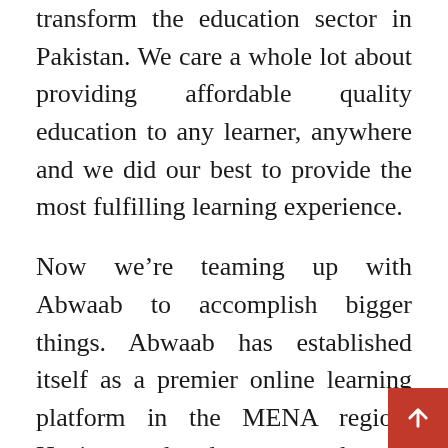transform the education sector in Pakistan. We care a whole lot about providing affordable quality education to any learner, anywhere and we did our best to provide the most fulfilling learning experience.
Now we're teaming up with Abwaab to accomplish bigger things. Abwaab has established itself as a premier online learning platform in the MENA region. Having already ramped up operations in Egypt, Abwaab now has its eyes set on Asia. Their vision to transform learning outside conventional classrooms matches ours and we're thrilled to be a part of Abwaab's first move into the Asian market. Our team is passionate about creating impact in Pakistan, and joining forces with Abwaab will enable us to unlock massive potential